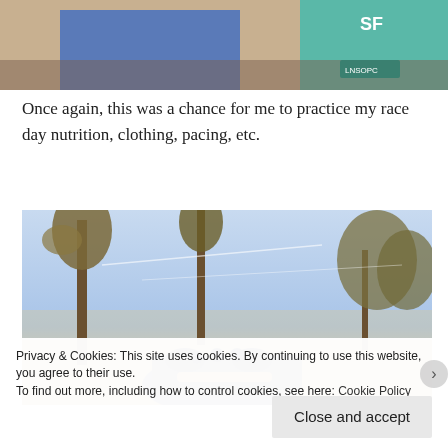[Figure (photo): Top portion of a photo showing runners/athletes at a race, with one person in a teal jersey.]
Once again, this was a chance for me to practice my race day nutrition, clothing, pacing, etc.
[Figure (photo): Outdoor photo showing palm trees and a clear sky at dusk/dawn, with running shoes in the foreground.]
Privacy & Cookies: This site uses cookies. By continuing to use this website, you agree to their use.
To find out more, including how to control cookies, see here: Cookie Policy
Close and accept